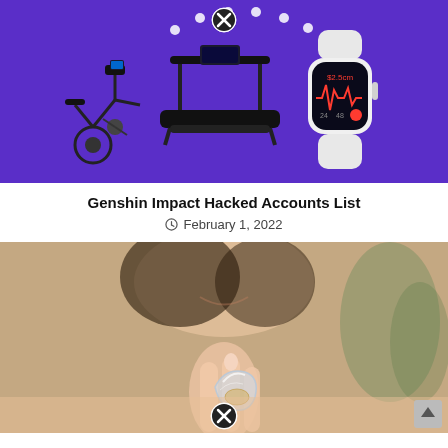[Figure (photo): Article thumbnail showing fitness equipment (exercise bike, treadmill) and an Apple Watch on a purple background, with dotted arc connecting them and a close/X button overlay]
Genshin Impact Hacked Accounts List
February 1, 2022
[Figure (photo): Article thumbnail showing a woman holding a small transparent/glass ring between her fingers, blurred background, with a close/X button overlay at the bottom]